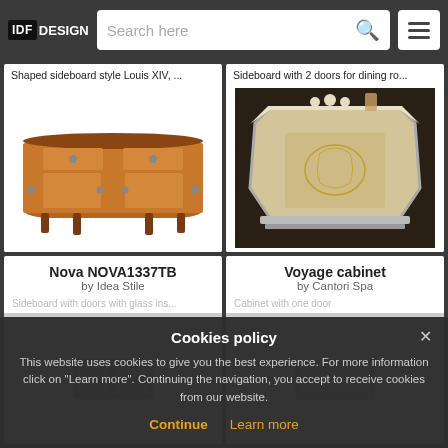IDF DESIGN — Search here
Shaped sideboard style Louis XIV, ...
[Figure (photo): Traditional wooden sideboard with two drawers and two cabinet doors on tapered legs]
Sideboard with 2 doors for dining ro...
[Figure (photo): Ornate cream and gold painted sideboard with decorative motifs, Voyage cabinet style]
Nova NOVA1337TB
by Idea Stile
Voyage cabinet
by Cantori Spa
Sideboard with doors with glass ins...
Cabinet with one door
Cookies policy

This website uses cookies to give you the best experience. For more information click on "Learn more". Continuing the navigation, you accept to receive cookies from our website.

Continue   Learn more